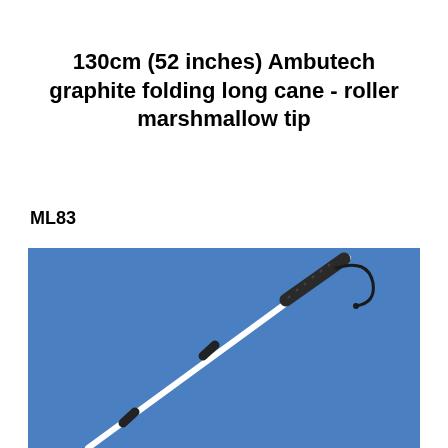130cm (52 inches) Ambutech graphite folding long cane - roller marshmallow tip
ML83
[Figure (photo): A white folding long cane with a black handle and wrist strap, photographed diagonally on a blue background. The cane has black connector rings where the segments join.]